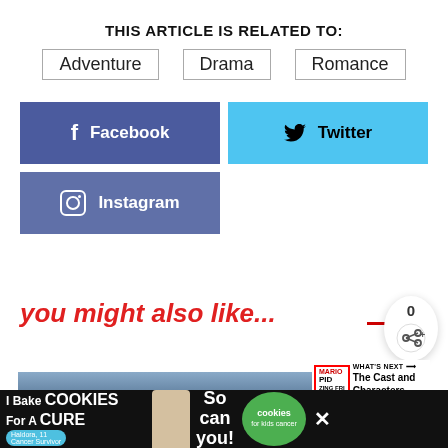THIS ARTICLE IS RELATED TO:
Adventure
Drama
Romance
[Figure (infographic): Facebook share button (blue), Twitter share button (light blue), Instagram follow button (medium blue)]
you might also like...
[Figure (photo): Child in winter hat with blurred crowd background - movie still]
[Figure (infographic): WHAT'S NEXT arrow with PID logo and text: The Cast and Characters ...]
[Figure (photo): Dark panel showing person with sunglasses]
[Figure (infographic): Advertisement banner: I Bake COOKIES For A CURE - Haldora, 11 Cancer Survivor - So can you! - cookies for kids cancer]